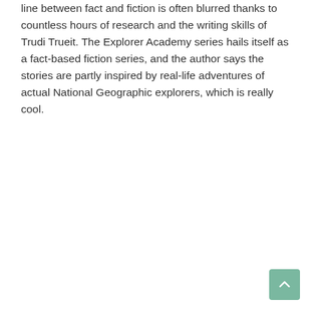line between fact and fiction is often blurred thanks to countless hours of research and the writing skills of Trudi Trueit. The Explorer Academy series hails itself as a fact-based fiction series, and the author says the stories are partly inspired by real-life adventures of actual National Geographic explorers, which is really cool.